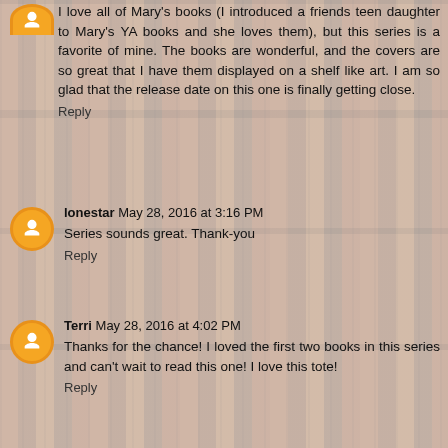I love all of Mary's books (I introduced a friends teen daughter to Mary's YA books and she loves them), but this series is a favorite of mine. The books are wonderful, and the covers are so great that I have them displayed on a shelf like art. I am so glad that the release date on this one is finally getting close.
Reply
lonestar  May 28, 2016 at 3:16 PM
Series sounds great. Thank-you
Reply
Terri  May 28, 2016 at 4:02 PM
Thanks for the chance! I loved the first two books in this series and can't wait to read this one! I love this tote!
Reply